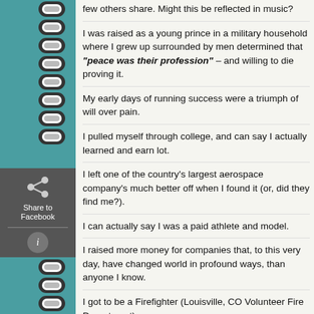few others share. Might this be reflected in music?
I was raised as a young prince in a military household where I grew up surrounded by men determined that "peace was their profession" – and willing to die proving it.
My early days of running success were a triumph of will over pain.
I pulled myself through college, and can say I actually learned and earned a lot.
I left one of the country's largest aerospace company's much better off than when I found it (or, did they find me?).
I can actually say I was a paid athlete and model.
I raised more money for companies that, to this very day, have changed the world in profound ways, than anyone I know.
I got to be a Firefighter (Louisville, CO Volunteer Fire Department).
I spent sixty days in jail.
I currently have the coolest job (outside of being a suburban rap-oriented poet [and youth soccer coach]) in the world. I sit around all day talking to friends (old and new), and helping them make ever better decisions. And if you ask my daughters what I do for a living, they will likely shrug and sa